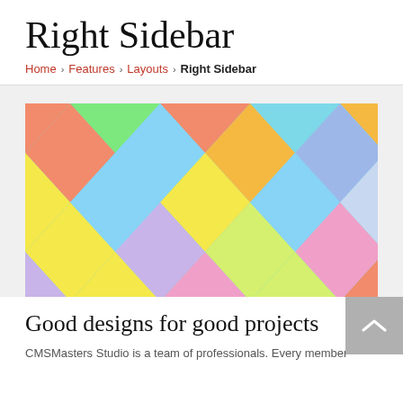Right Sidebar
Home › Features › Layouts › Right Sidebar
[Figure (illustration): Colorful diamond/argyle pattern with pastel and bright colors including green, teal, orange, red/pink, blue, yellow, purple, and lime arranged in a harlequin grid pattern.]
Good designs for good projects
CMSMasters Studio is a team of professionals. Every member